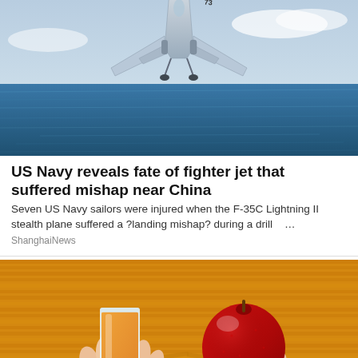[Figure (photo): Fighter jet (F-35C) flying low over ocean water, number 73 visible on the aircraft, light gray sky background]
US Navy reveals fate of fighter jet that suffered mishap near China
Seven US Navy sailors were injured when the F-35C Lightning II stealth plane suffered a ?landing mishap? during a drill …
ShanghaiNews
[Figure (photo): Person in orange/mustard knit sweater holding a glass of orange juice in one hand and a red apple in the other hand]